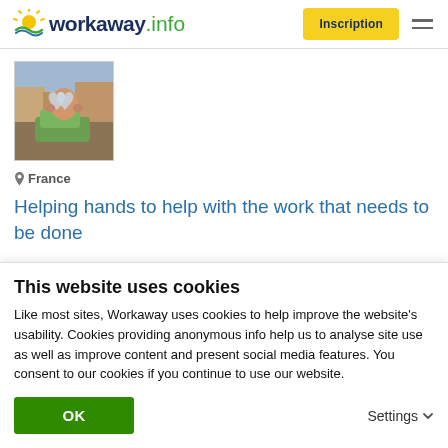[Figure (logo): Workaway.info logo with sun graphic]
Inscription
[Figure (photo): Profile photo of a person holding a heart shape outdoors]
France
Helping hands to help with the work that needs to be done
This website uses cookies
Like most sites, Workaway uses cookies to help improve the website's usability. Cookies providing anonymous info help us to analyse site use as well as improve content and present social media features.  You consent to our cookies if you continue to use our website.
OK
Settings